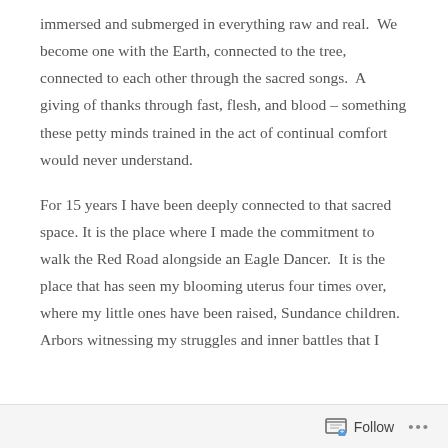immersed and submerged in everything raw and real.  We become one with the Earth, connected to the tree, connected to each other through the sacred songs.  A giving of thanks through fast, flesh, and blood – something these petty minds trained in the act of continual comfort would never understand.

For 15 years I have been deeply connected to that sacred space. It is the place where I made the commitment to walk the Red Road alongside an Eagle Dancer.  It is the place that has seen my blooming uterus four times over, where my little ones have been raised, Sundance children. Arbors witnessing my struggles and inner battles that I
Follow ···